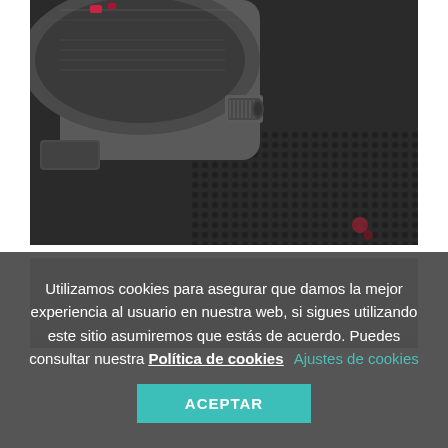[Figure (photo): Close-up macro photograph of a luxury wristwatch showing the crown and case details on a dark textured rubber surface, with red accents visible on the bezel]
[Figure (photo): Partial view of another dark watch photograph below the first]
Utilizamos cookies para asegurar que damos la mejor experiencia al usuario en nuestra web, si sigues utilizando este sitio asumiremos que estás de acuerdo. Puedes consultar nuestra Política de cookies    Ajustes de cookies
ACEPTAR